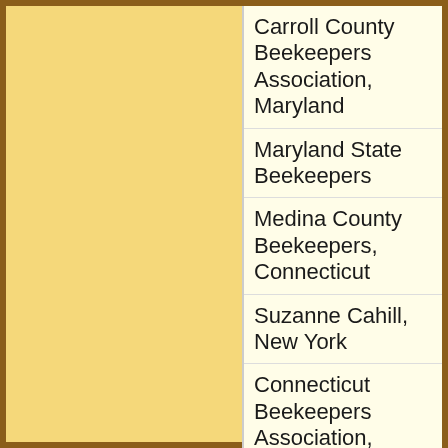Carroll County Beekeepers Association, Maryland
Maryland State Beekeepers
Medina County Beekeepers, Connecticut
Suzanne Cahill, New York
Connecticut Beekeepers Association,
Tualatin Valley Beekeepers Association, Oregon